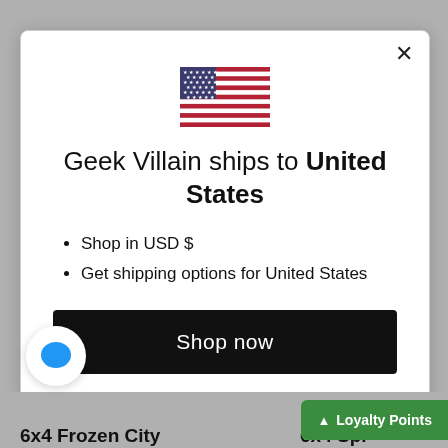[Figure (illustration): US flag emoji/illustration centered in modal dialog]
Geek Villain ships to United States
Shop in USD $
Get shipping options for United States
Shop now
Change shipping country
[Figure (illustration): Blue speech bubble chat icon in white circle]
Loyalty Points
6x4 Frozen City
6x4 Spr